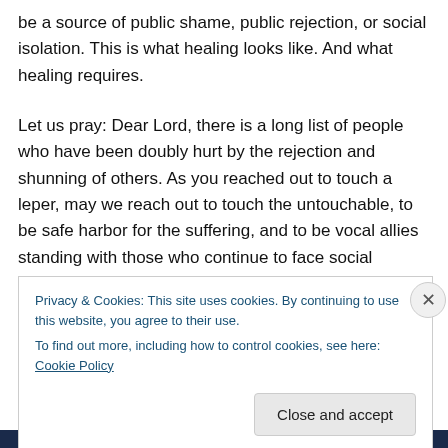be a source of public shame, public rejection, or social isolation. This is what healing looks like. And what healing requires.
Let us pray: Dear Lord, there is a long list of people who have been doubly hurt by the rejection and shunning of others. As you reached out to touch a leper, may we reach out to touch the untouchable, to be safe harbor for the suffering, and to be vocal allies standing with those who continue to face social rejection because of who they are. In Jesus' name. Amen.
Privacy & Cookies: This site uses cookies. By continuing to use this website, you agree to their use.
To find out more, including how to control cookies, see here: Cookie Policy
Close and accept